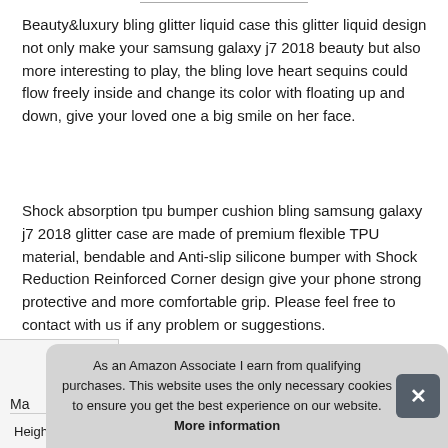Beauty&luxury bling glitter liquid case this glitter liquid design not only make your samsung galaxy j7 2018 beauty but also more interesting to play, the bling love heart sequins could flow freely inside and change its color with floating up and down, give your loved one a big smile on her face.
Shock absorption tpu bumper cushion bling samsung galaxy j7 2018 glitter case are made of premium flexible TPU material, bendable and Anti-slip silicone bumper with Shock Reduction Reinforced Corner design give your phone strong protective and more comfortable grip. Please feel free to contact with us if any problem or suggestions.
|  |  |
| --- | --- |
| Ma |  |
| Height | 1 Inches |
As an Amazon Associate I earn from qualifying purchases. This website uses the only necessary cookies to ensure you get the best experience on our website. More information